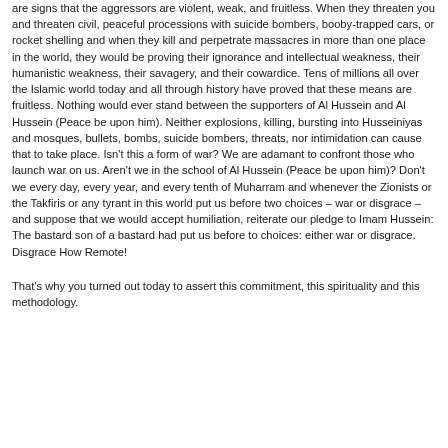are signs that the aggressors are violent, weak, and fruitless. When they threaten you and threaten civil, peaceful processions with suicide bombers, booby-trapped cars, or rocket shelling and when they kill and perpetrate massacres in more than one place in the world, they would be proving their ignorance and intellectual weakness, their humanistic weakness, their savagery, and their cowardice. Tens of millions all over the Islamic world today and all through history have proved that these means are fruitless. Nothing would ever stand between the supporters of Al Hussein and Al Hussein (Peace be upon him). Neither explosions, killing, bursting into Husseiniyas and mosques, bullets, bombs, suicide bombers, threats, nor intimidation can cause that to take place. Isn't this a form of war? We are adamant to confront those who launch war on us. Aren't we in the school of Al Hussein (Peace be upon him)? Don't we every day, every year, and every tenth of Muharram and whenever the Zionists or the Takfiris or any tyrant in this world put us before two choices – war or disgrace – and suppose that we would accept humiliation, reiterate our pledge to Imam Hussein: The bastard son of a bastard had put us before to choices: either war or disgrace. Disgrace How Remote!
That's why you turned out today to assert this commitment, this spirituality and this methodology.